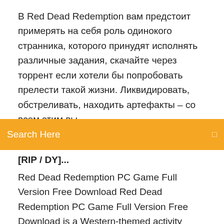В Red Dead Redemption вам предстоит примерять на себя роль одинокого странника, которого принудят исполнять различные задания, скачайте через торрент если хотели бы попробовать прелести такой жизни. Ликвидировать, обстреливать, находить артефакты – со всем этим вы...
[Figure (other): Orange search bar with 'Search Here' placeholder text and a search icon]
[RIP / DY]...
Red Dead Redemption PC Game Full Version Free Download Red Dead Redemption PC Game Full Version Free Download is a Western-themed activity enterprise computer game created by Rockstar San Diego and distributed by Rockstar Games. It was discharged for PlayStation 3 and Xbox 360 consoles in May 2011. It is the third in the Red Dead establishment, after 2006s Red Dead Revolver. The diversion, set amid the decay of the American boondocks in the year 191, takes after John Marston, a previous bandit whose spouse and the administration kidnaps